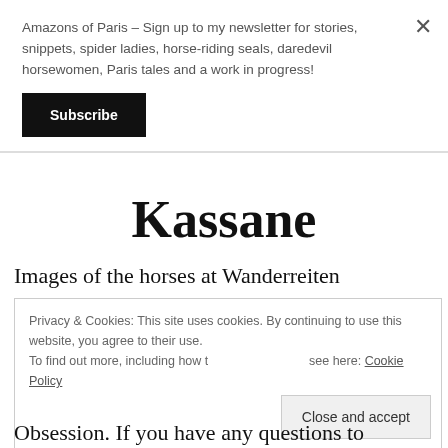Amazons of Paris – Sign up to my newsletter for stories, snippets, spider ladies, horse-riding seals, daredevil horsewomen, Paris tales and a work in progress!
Subscribe
Kassane
Images of the horses at Wanderreiten
Privacy & Cookies: This site uses cookies. By continuing to use this website, you agree to their use. To find out more, including how to control cookies, see here: Cookie Policy
Close and accept
Obsession. If you have any questions to